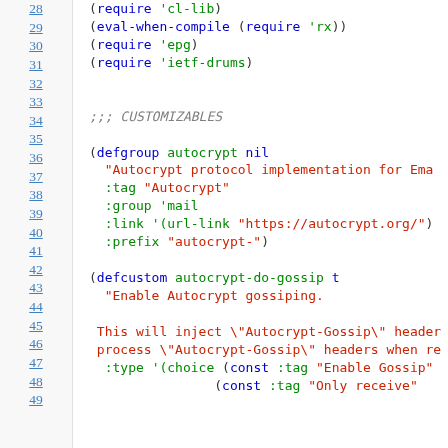[Figure (screenshot): Source code view showing Lisp/Emacs Lisp code with line numbers 28-49, featuring syntax highlighting with blue line numbers, green symbols/keywords, red strings, and gray italic comments.]